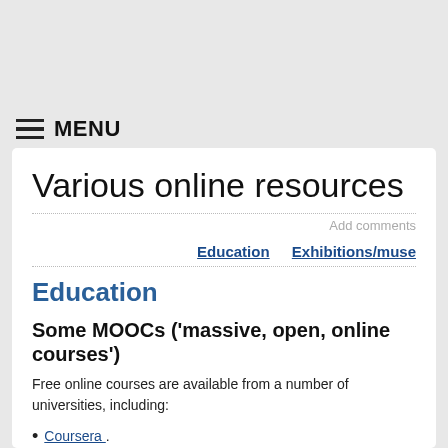MENU
Various online resources
Add comments
Education    Exhibitions/muse
Education
Some MOOCs ('massive, open, online courses')
Free online courses are available from a number of universities, including:
Coursera .
edX (specific universities from around the world).
Courses from the Milton Queen University and others